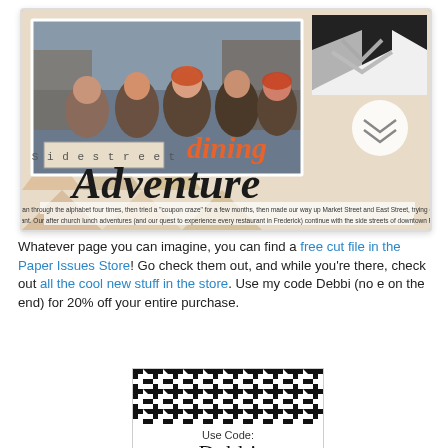[Figure (photo): Scrapbook layout page titled 'Side street dining Adventure' featuring a group photo of five people outdoors, decorative elements including geometric triangles, chevron pattern, and journaling text strips. The title uses mixed typography with 'dining' in orange script and 'Adventure' in large black brush lettering.]
Whatever page you can imagine, you can find a free cut file in the Paper Issues Store! Go check them out, and while you're there, check out all the cool new stuff in the store. Use my code Debbi (no e on the end) for 20% off your entire purchase.
[Figure (infographic): Promotional coupon box with houndstooth pattern at top, text 'Use Code:' and large text 'Debbi' below.]